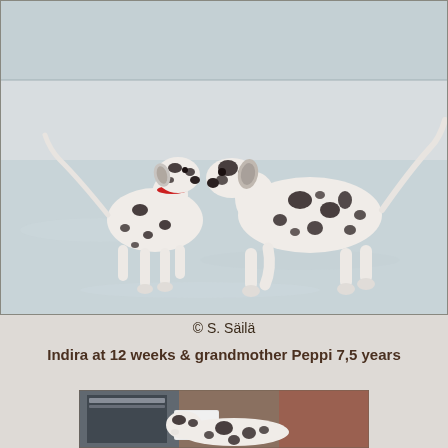[Figure (photo): Two Dalmatian dogs standing in snow. The smaller one on the left wears a red collar. The larger one on the right faces left toward the smaller dog.]
© S. Säilä
Indira at 12 weeks & grandmother Peppi 7,5 years
[Figure (photo): Partial view of a Dalmatian dog lying down indoors near appliances and a brick wall.]